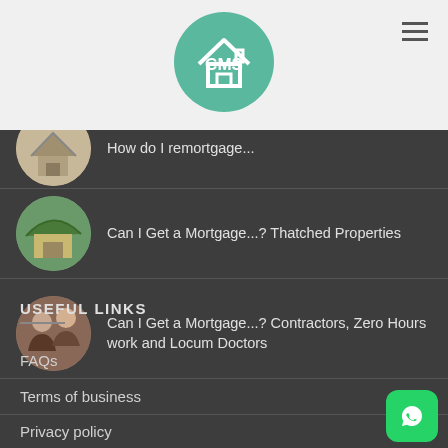LATEST NEWS
[Figure (logo): CMS circular logo with house icon on teal/green background]
How do I remortgage...
Can I Get a Mortgage...? Thatched Properties
Can I Get a Mortgage...? Contractors, Zero Hours work and Locum Doctors
USEFUL LINKS
FAQs
Terms of business
Privacy policy